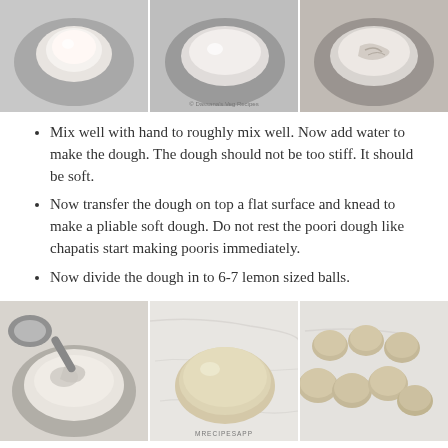[Figure (photo): Three sequential photos showing dough mixing stages in a steel bowl]
Mix well with hand to roughly mix well. Now add water to make the dough. The dough should not be too stiff. It should be soft.
Now transfer the dough on top a flat surface and knead to make a pliable soft dough. Do not rest the poori dough like chapatis start making pooris immediately.
Now divide the dough in to 6-7 lemon sized balls.
[Figure (photo): Three sequential photos: adding water to flour in bowl, kneaded dough ball on marble surface, multiple small dough balls on marble surface]
Sprinkle some flour and keep one ball of dough on top and roll using a rolling pin as a round pooris of palm...